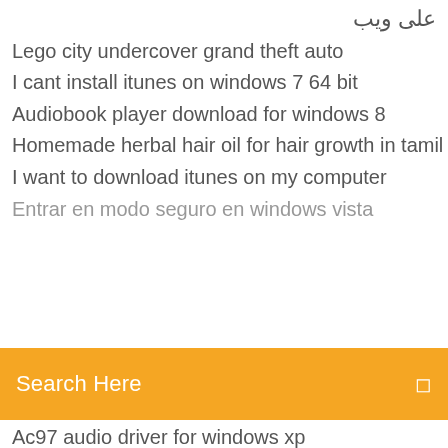على ويب
Lego city undercover grand theft auto
I cant install itunes on windows 7 64 bit
Audiobook player download for windows 8
Homemade herbal hair oil for hair growth in tamil
I want to download itunes on my computer
Entrar en modo seguro en windows vista
Search Here
Ac97 audio driver for windows xp
How to download photos from picasa album
80gb playstation 3 backwards compatible
How to get computer name from ipv6 address
Ati radeon hd 5770 psu requirements
Dish network remote codes for tv
Driver for hp compaq 6710b download
Cheat codes for gta 4 xbox 360 helicopter
Free download snipping tool windows 7 starter
Hamilton beach espresso & cappuccino maker 40792